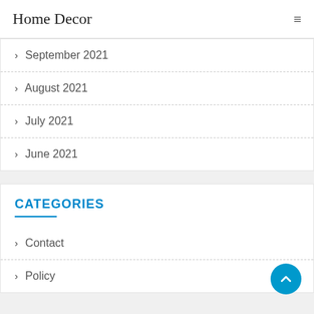Home Decor
September 2021
August 2021
July 2021
June 2021
CATEGORIES
Contact
Policy